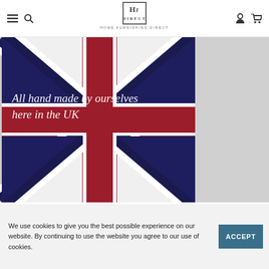HF Direct | Home Furnishing Direct
[Figure (photo): Union Jack (UK flag) close-up banner image with white italic script text reading 'All hand made by ourselves here in the UK']
Write a review
We use cookies to give you the best possible experience on our website. By continuing to use the website you agree to our use of cookies.